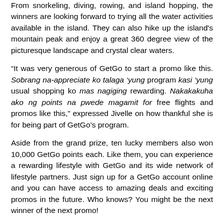From snorkeling, diving, rowing, and island hopping, the winners are looking forward to trying all the water activities available in the island. They can also hike up the island's mountain peak and enjoy a great 360 degree view of the picturesque landscape and crystal clear waters.
“It was very generous of GetGo to start a promo like this. Sobrang na-appreciate ko talaga ‘yung program kasi ‘yung usual shopping ko mas nagiging rewarding. Nakakakuha ako ng points na pwede magamit for free flights and promos like this,” expressed Jivelle on how thankful she is for being part of GetGo’s program.
Aside from the grand prize, ten lucky members also won 10,000 GetGo points each. Like them, you can experience a rewarding lifestyle with GetGo and its wide network of lifestyle partners. Just sign up for a GetGo account online and you can have access to amazing deals and exciting promos in the future. Who knows? You might be the next winner of the next promo!
For more information on memberships and partners, visit www.getgo.com.ph. Stay updated on the latest promos by...